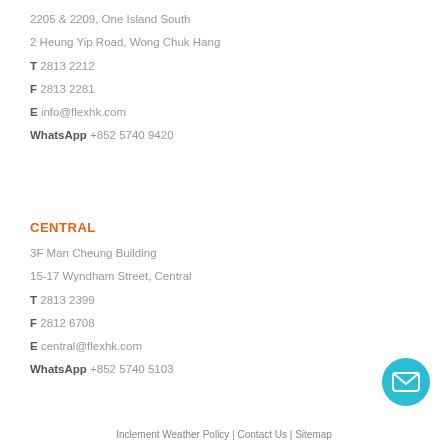2205 & 2209, One Island South
2 Heung Yip Road, Wong Chuk Hang
T 2813 2212
F 2813 2281
E info@flexhk.com
WhatsApp +852 5740 9420
CENTRAL
3F Man Cheung Building
15-17 Wyndham Street, Central
T 2813 2399
F 2812 6708
E central@flexhk.com
WhatsApp +852 5740 5103
Inclement Weather Policy | Contact Us | Sitemap